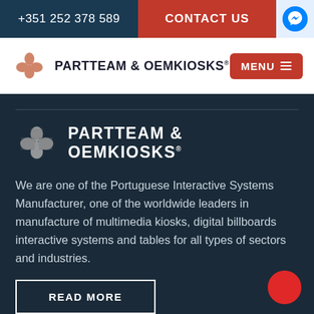+351 252 378 589 | CONTACT US
[Figure (logo): PARTTEAM & OEMKIOSKS logo with shamrock/leaf emblem in salmon color, white background navigation bar]
[Figure (logo): PARTTEAM & OEMKIOSKS logo with shamrock/leaf emblem in white/grey, dark navy background section]
We are one of the Portuguese Interactive Systems Manufacturer, one of the worldwide leaders in manufacture of multimedia kiosks, digital billboards interactive systems and tables for all types of sectors and industries.
READ MORE